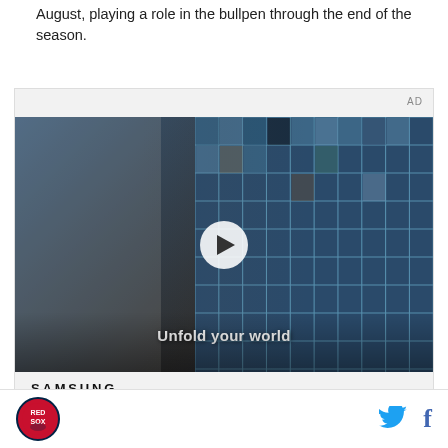August, playing a role in the bullpen through the end of the season.
[Figure (screenshot): Samsung advertisement with a video player showing a young man in a denim jacket in a commercial setting with the text 'Unfold your world', a play button overlay, and below the video: Samsung logo text and tagline 'Bring all your devices']
Red Sox logo icon on left, Twitter and Facebook social media icons on right